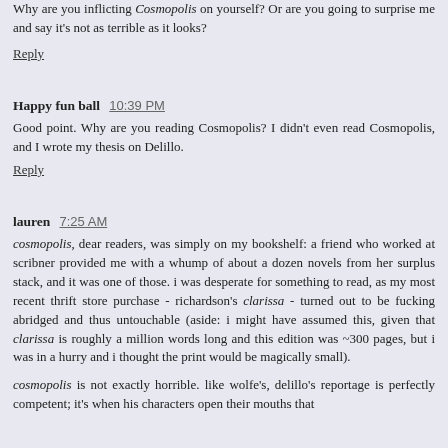Why are you inflicting Cosmopolis on yourself? Or are you going to surprise me and say it's not as terrible as it looks?
Reply
Happy fun ball  10:39 PM
Good point. Why are you reading Cosmopolis? I didn't even read Cosmopolis, and I wrote my thesis on Delillo.
Reply
lauren  7:25 AM
cosmopolis, dear readers, was simply on my bookshelf: a friend who worked at scribner provided me with a whump of about a dozen novels from her surplus stack, and it was one of those. i was desperate for something to read, as my most recent thrift store purchase - richardson's clarissa - turned out to be fucking abridged and thus untouchable (aside: i might have assumed this, given that clarissa is roughly a million words long and this edition was ~300 pages, but i was in a hurry and i thought the print would be magically small).
cosmopolis is not exactly horrible. like wolfe's, delillo's reportage is perfectly competent; it's when his characters open their mouths that